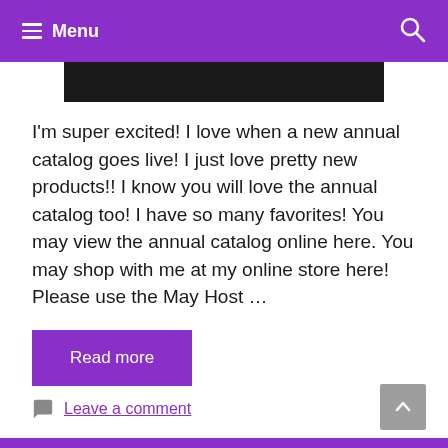Menu
[Figure (photo): Dark banner image at the top of the page content area]
I'm super excited! I love when a new annual catalog goes live! I just love pretty new products!! I know you will love the annual catalog too! I have so many favorites! You may view the annual catalog online here. You may shop with me at my online store here! Please use the May Host …
Read more
Leave a comment